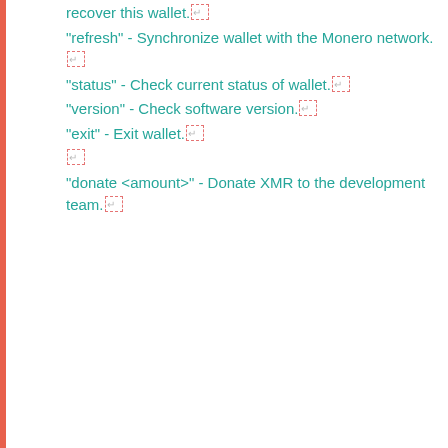recover this wallet.↵
"refresh" - Synchronize wallet with the Monero network.↵
"status" - Check current status of wallet.↵
"version" - Check software version.↵
"exit" - Exit wallet.↵
↵
"donate <amount>" - Donate XMR to the development team.↵
Checking your balance
## Sprawdzanie salda
Since the blockchain handling and the wallet are separate programs, many uses of `monero-wallet-cli` need to work with the
Ponieważ zarządzanie łańcuchem bloków i portfelem odbywa się za pomocą różnych programów, wielokrotnie